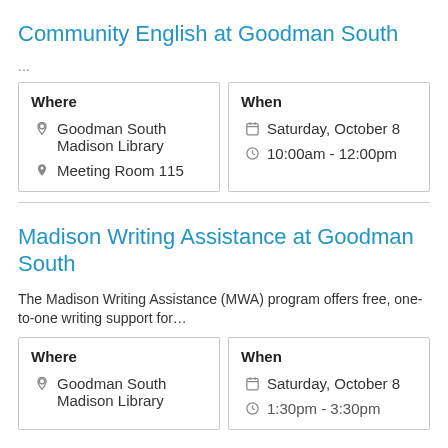Community English at Goodman South
...
| Where | When |
| --- | --- |
| 📍 Goodman South Madison Library
📍 Meeting Room 115 | 📅 Saturday, October 8
🕐 10:00am - 12:00pm |
Madison Writing Assistance at Goodman South
The Madison Writing Assistance (MWA) program offers free, one-to-one writing support for…
| Where | When |
| --- | --- |
| 📍 Goodman South Madison Library | 📅 Saturday, October 8
🕐 1:30pm - 3:30pm |